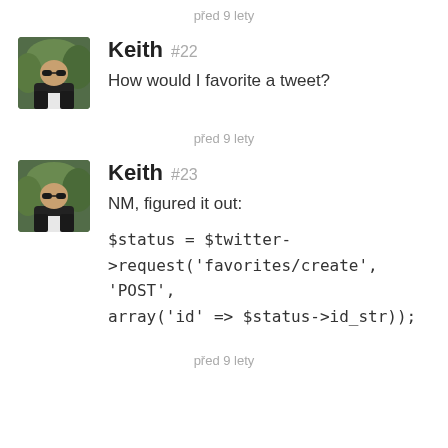před 9 lety
Keith #22
How would I favorite a tweet?
před 9 lety
Keith #23
NM, figured it out:

$status = $twitter->request('favorites/create', 'POST', array('id' => $status->id_str));
před 9 lety